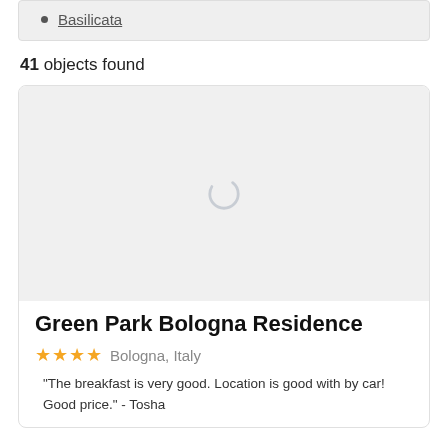Basilicata
41 objects found
[Figure (screenshot): Loading placeholder image with spinner icon for hotel photo]
Green Park Bologna Residence
★★★★  Bologna, Italy
"The breakfast is very good. Location is good with by car! Good price." - Tosha